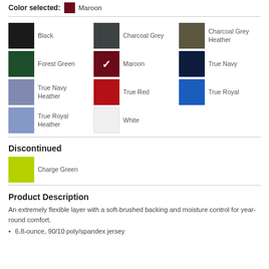Color selected: Maroon
Black
Charcoal Grey
Charcoal Grey Heather
Forest Green
Maroon
True Navy
True Navy Heather
True Red
True Royal
True Royal Heather
White
Discontinued
Charge Green
Product Description
An extremely flexible layer with a soft-brushed backing and moisture control for year-round comfort.
6.8-ounce, 90/10 poly/spandex jersey